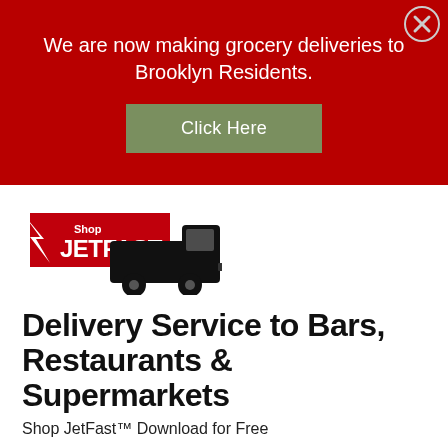We are now making grocery deliveries to Brooklyn Residents.
Click Here
[Figure (logo): Shop JetFast logo with delivery van — red banner with lightning bolt and text 'Shop JETFAST' alongside a black delivery van silhouette with TM mark]
Delivery Service to Bars, Restaurants & Supermarkets
Shop JetFast™ Download for Free